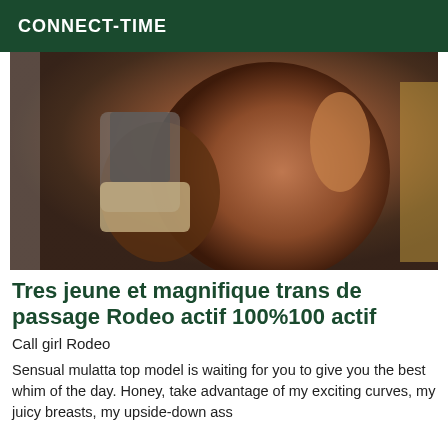CONNECT-TIME
[Figure (photo): A photograph of a person posed from behind.]
Tres jeune et magnifique trans de passage Rodeo actif 100%100 actif
Call girl Rodeo
Sensual mulatta top model is waiting for you to give you the best whim of the day. Honey, take advantage of my exciting curves, my juicy breasts, my upside-down ass